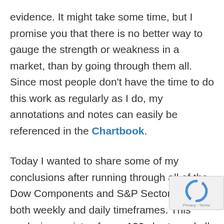evidence. It might take some time, but I promise you that there is no better way to gauge the strength or weakness in a market, than by going through them all. Since most people don't have the time to do this work as regularly as I do, my annotations and notes can easily be referenced in the Chartbook.
Today I wanted to share some of my conclusions after running through all of the Dow Components and S&P Sectors on both weekly and daily timeframes. This analysis consists of over 120 charts and all of them have been updated today in the Chartbook [Read more...]